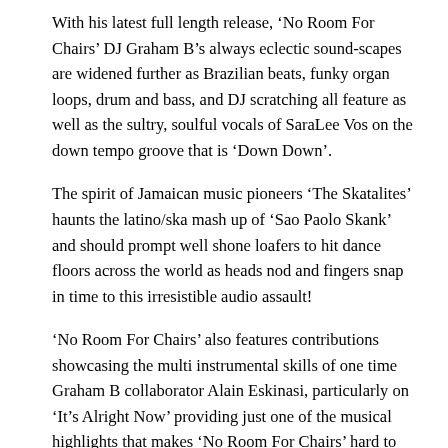With his latest full length release, 'No Room For Chairs' DJ Graham B's always eclectic sound-scapes are widened further as Brazilian beats, funky organ loops, drum and bass, and DJ scratching all feature as well as the sultry, soulful vocals of SaraLee Vos on the down tempo groove that is 'Down Down'.
The spirit of Jamaican music pioneers 'The Skatalites' haunts the latino/ska mash up of 'Sao Paolo Skank' and should prompt well shone loafers to hit dance floors across the world as heads nod and fingers snap in time to this irresistible audio assault!
'No Room For Chairs' also features contributions showcasing the multi instrumental skills of one time Graham B collaborator Alain Eskinasi, particularly on 'It's Alright Now' providing just one of the musical highlights that makes 'No Room For Chairs' hard to pigeon hole and totally impossible to resist.